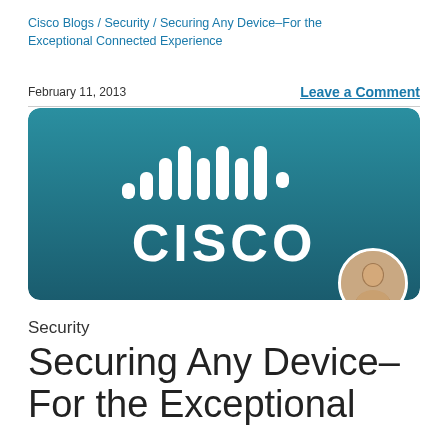Cisco Blogs / Security / Securing Any Device–For the Exceptional Connected Experience
February 11, 2013
Leave a Comment
[Figure (logo): Cisco logo on teal-to-dark-teal gradient background with rounded corners, and a circular author photo in the bottom right corner]
Security
Securing Any Device–For the Exceptional